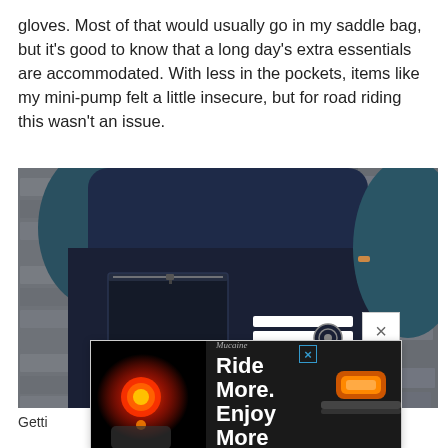gloves. Most of that would usually go in my saddle bag, but it's good to know that a long day's extra essentials are accommodated. With less in the pockets, items like my mini-pump felt a little insecure, but for road riding this wasn't an issue.
[Figure (photo): Close-up of a cyclist's back showing a navy blue cycling jersey with pockets. The left pocket has a zip closure, and the right side shows white horizontal stripes and a blue accent stripe with a circular logo. The background is a stone wall.]
[Figure (screenshot): Advertisement overlay showing cycling lights. Left side shows a red rear light, center shows text 'Ride More. Enjoy More' with a brand logo, right side shows an orange front light. Dark background. Has a close X button.]
Getti